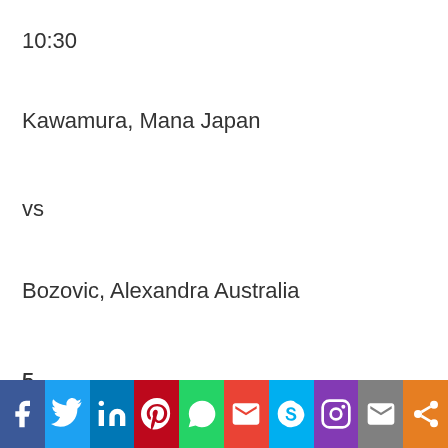10:30
Kawamura, Mana Japan
vs
Bozovic, Alexandra Australia
5
5
,
6
[Figure (infographic): Social media sharing bar with icons for Facebook, Twitter, LinkedIn, Pinterest, WhatsApp, Gmail, Skype, Instagram, Email, and Share]